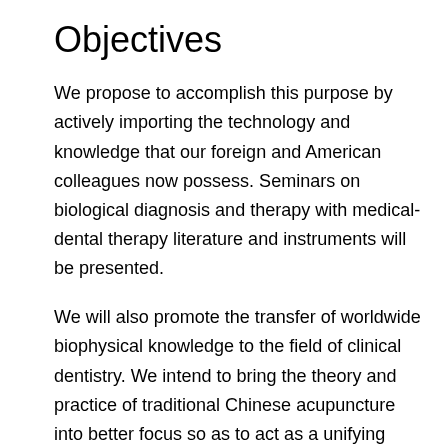Objectives
We propose to accomplish this purpose by actively importing the technology and knowledge that our foreign and American colleagues now possess. Seminars on biological diagnosis and therapy with medical-dental therapy literature and instruments will be presented.
We will also promote the transfer of worldwide biophysical knowledge to the field of clinical dentistry. We intend to bring the theory and practice of traditional Chinese acupuncture into better focus so as to act as a unifying concept to allow the biologically-oriented dentist to participate with the biologically-, ecologically- and environmentally-oriented physician in the